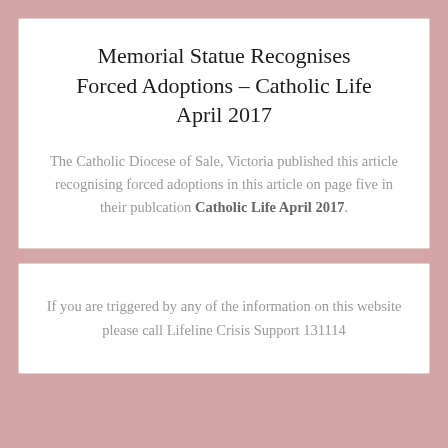Memorial Statue Recognises Forced Adoptions – Catholic Life April 2017
The Catholic Diocese of Sale, Victoria published this article recognising forced adoptions in this article on page five in their publcation Catholic Life April 2017.
If you are triggered by any of the information on this website please call Lifeline Crisis Support 131114